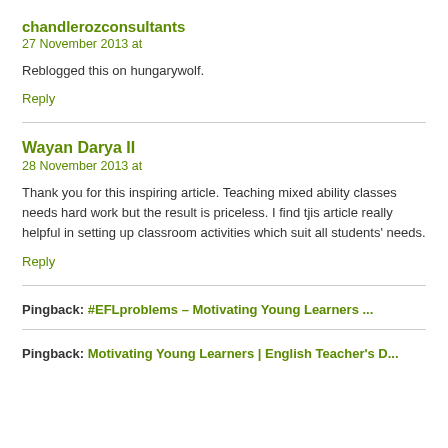chandlerozconsultants
27 November 2013 at
Reblogged this on hungarywolf.
Reply
Wayan Darya II
28 November 2013 at
Thank you for this inspiring article. Teaching mixed ability classes needs hard work but the result is priceless. I find tjis article really helpful in setting up classroom activities which suit all students' needs.
Reply
Pingback: #EFLproblems – Motivating Young Learners ...
Pingback: Motivating Young Learners | English Teacher's D...